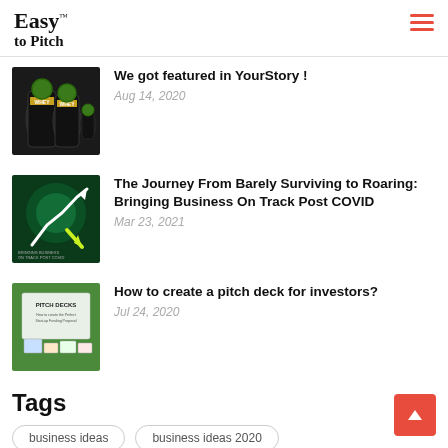Easy to Pitch
[Figure (photo): Whey protein supplement containers thumbnail]
We got featured in YourStory !
Aug 14, 2020
[Figure (photo): Business on track post COVID graphic thumbnail]
The Journey From Barely Surviving to Roaring: Bringing Business On Track Post COVID
Mar 23, 2021
[Figure (photo): Pitch decks for investors thumbnail]
How to create a pitch deck for investors?
Jul 24, 2020
Tags
business ideas
business ideas 2020